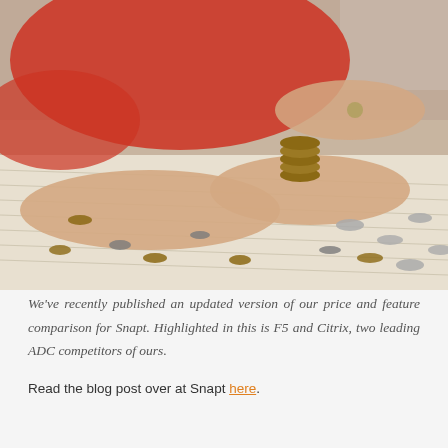[Figure (photo): A person in a red shirt counting coins on a striped surface, with stacks and scattered coins spread across a table.]
We've recently published an updated version of our price and feature comparison for Snapt. Highlighted in this is F5 and Citrix, two leading ADC competitors of ours.
Read the blog post over at Snapt here.